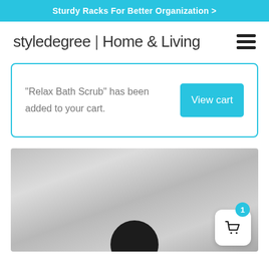Sturdy Racks For Better Organization >
styledegree | Home & Living
"Relax Bath Scrub" has been added to your cart.
[Figure (photo): Product page showing a blurred grey textured background with a dark round object at the bottom, and a shopping cart icon overlay with badge showing 1 item]